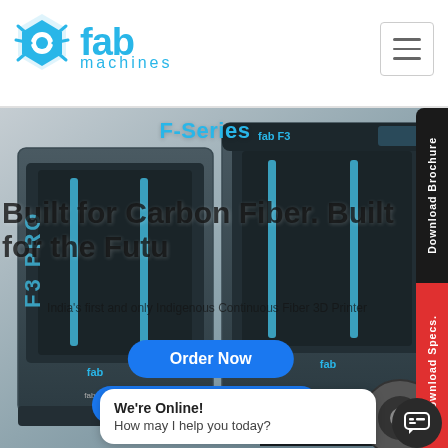[Figure (logo): Fab Machines logo — blue spider/hexagon icon with 'fab machines' text in blue]
[Figure (screenshot): Hero banner showing F3 PRO and F3 3D printers on dark background]
F-Series
Built for Carbon Fiber. Built for the Future
India's first and only Indigenous Continuous Fiber 3D Printer
Order Now
Request Free Samples
Download Brochure
Download Specs.
We're Online!
How may I help you today?